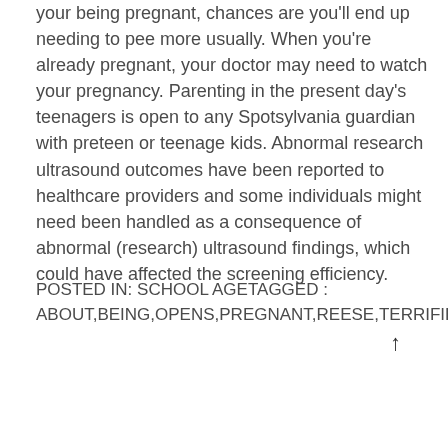your being pregnant, chances are you'll end up needing to pee more usually. When you're already pregnant, your doctor may need to watch your pregnancy. Parenting in the present day's teenagers is open to any Spotsylvania guardian with preteen or teenage kids. Abnormal research ultrasound outcomes have been reported to healthcare providers and some individuals might need been handled as a consequence of abnormal (research) ultrasound findings, which could have affected the screening efficiency.
POSTED IN: SCHOOL AGETAGGED : ABOUT,BEING,OPENS,PREGNANT,REESE,TERRIFIED,WITHERS